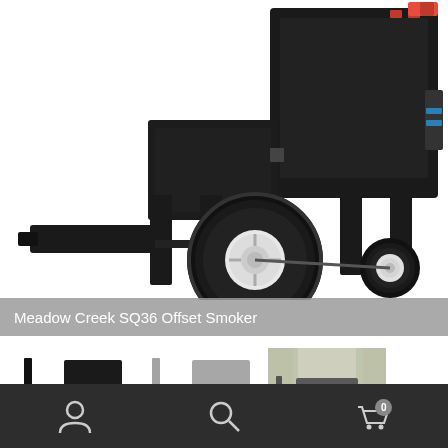[Figure (photo): Close-up photo of the Meadow Creek SQ36 Offset Smoker showing the lower portion with large pneumatic wheels with white rims, black metal frame legs, and the firebox side with metal fittings. Dark background.]
Meadow Creek SQ36 Offset Smoker
[Figure (photo): Thumbnail photo of Meadow Creek SQ36 Offset Smoker, front-left view, full unit visible, dark background.]
[Figure (photo): Thumbnail photo of Meadow Creek SQ36 Offset Smoker, slightly faded/ghosted center view showing full smoker with wheels.]
[Figure (photo): Thumbnail photo of Meadow Creek SQ36 Offset Smoker outdoors in a wooded setting, side view.]
Meadow Creek SQ36
user icon  search icon  cart icon (0)